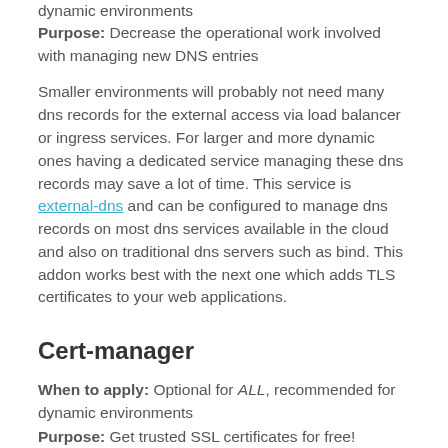dynamic environments
Purpose: Decrease the operational work involved with managing new DNS entries
Smaller environments will probably not need many dns records for the external access via load balancer or ingress services. For larger and more dynamic ones having a dedicated service managing these dns records may save a lot of time. This service is external-dns and can be configured to manage dns records on most dns services available in the cloud and also on traditional dns servers such as bind. This addon works best with the next one which adds TLS certificates to your web applications.
Cert-manager
When to apply: Optional for ALL, recommended for dynamic environments
Purpose: Get trusted SSL certificates for free!